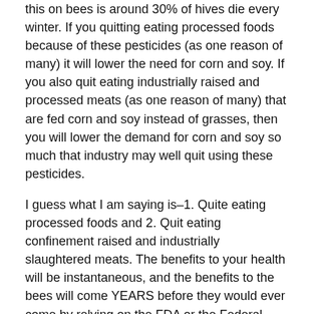this on bees is around 30% of hives die every winter. If you quitting eating processed foods because of these pesticides (as one reason of many) it will lower the need for corn and soy. If you also quit eating industrially raised and processed meats (as one reason of many) that are fed corn and soy instead of grasses, then you will lower the demand for corn and soy so much that industry may well quit using these pesticides.
I guess what I am saying is–1. Quite eating processed foods and 2. Quit eating confinement raised and industrially slaughtered meats. The benefits to your health will be instantaneous, and the benefits to the bees will come YEARS before they would ever come by relying on the FDA or the Federal Courts to defend them from the profit motive.